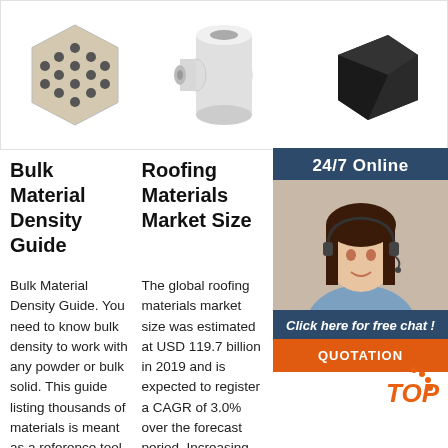[Figure (photo): Hexagonal honeycomb ceramic/material block with circular holes]
[Figure (photo): White cylindrical tube/pipe fitting components]
[Figure (photo): Dark black rectangular foam/rubber block]
Bulk Material Density Guide
Roofing Materials Market Size
Optical Diffuser, Optic Diffuser
Bulk Material Density Guide. You need to know bulk density to work with any powder or bulk solid. This guide listing thousands of materials is meant as a reference tool to assist you in designing your production
The global roofing materials market size was estimated at USD 119.7 billion in 2019 and is expected to register a CAGR of 3.0% over the forecast period. Increasing investments in the renovation and
Optical Diffusers are also known as Light Diffusers, many industrial applications. Substrate determines the level of loss due to scatter. Edmund Optics offers a wide variety of Light Diffusors in a
[Figure (infographic): 24/7 Online chat widget with customer service representative photo and QUOTATION button]